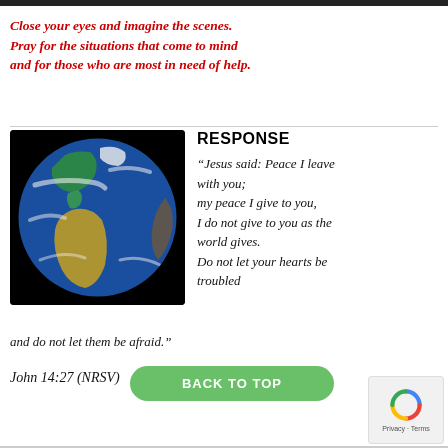Close your eyes and imagine the scenes. Pray for the situations that come to mind and for those who are most in need of help.
[Figure (photo): Photograph of Earth from space showing the Americas, blue oceans, green landmasses, and white cloud cover against a black background.]
RESPONSE
“Jesus said: Peace I leave with you; my peace I give to you, I do not give to you as the world gives. Do not let your hearts be troubled and do not let them be afraid.”
John 14:27 (NRSV)
BACK TO TOP | Privacy · Terms